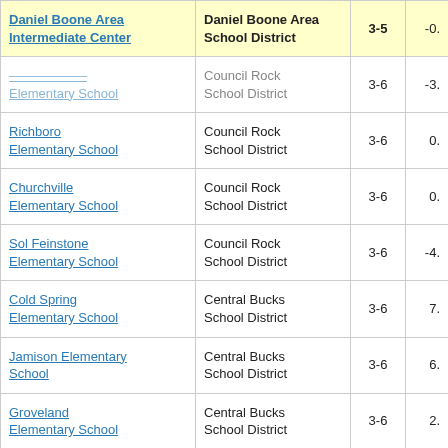| School | District | Grades | Value |
| --- | --- | --- | --- |
| Daniel Boone Area Intermediate Center | Daniel Boone Area School District | 3-5 | -0. |
| [partially visible school]  Elementary School | Council Rock School District | 3-6 | -3. |
| Richboro Elementary School | Council Rock School District | 3-6 | 0. |
| Churchville Elementary School | Council Rock School District | 3-6 | 0. |
| Sol Feinstone Elementary School | Council Rock School District | 3-6 | -4. |
| Cold Spring Elementary School | Central Bucks School District | 3-6 | 7. |
| Jamison Elementary School | Central Bucks School District | 3-6 | 6. |
| Groveland Elementary School | Central Bucks School District | 3-6 | 2. |
| Mill Creek | Central Bucks | 3-6 |  |